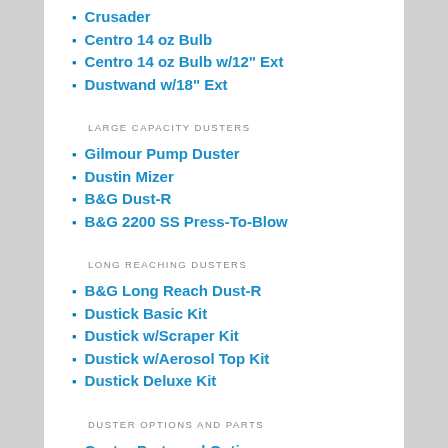Crusader
Centro 14 oz Bulb
Centro 14 oz Bulb w/12" Ext
Dustwand w/18" Ext
LARGE CAPACITY DUSTERS
Gilmour Pump Duster
Dustin Mizer
B&G Dust-R
B&G 2200 SS Press-To-Blow
LONG REACHING DUSTERS
B&G Long Reach Dust-R
Dustick Basic Kit
Dustick w/Scraper Kit
Dustick w/Aerosol Top Kit
Dustick Deluxe Kit
DUSTER OPTIONS AND PARTS
Centro Parts and Options